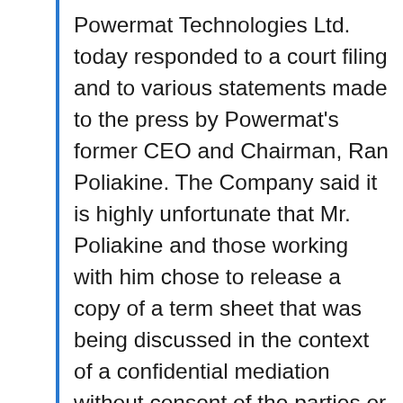Powermat Technologies Ltd. today responded to a court filing and to various statements made to the press by Powermat's former CEO and Chairman, Ran Poliakine. The Company said it is highly unfortunate that Mr. Poliakine and those working with him chose to release a copy of a term sheet that was being discussed in the context of a confidential mediation without consent of the parties or the mediator. The disclosure of such mediation materials by Mr. Poliakine is in clear violation of legal standards and the good faith parties expect during mediation. In addition, various press